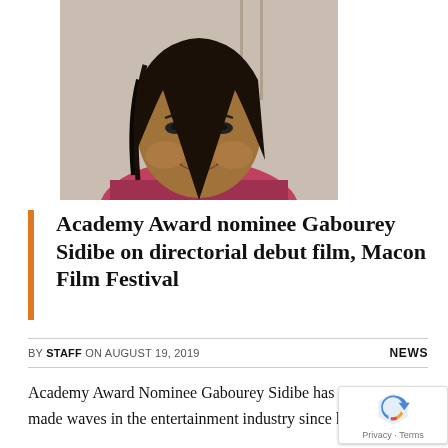[Figure (photo): Portrait photo of Gabourey Sidibe, a young Black woman with straight dark hair, wearing a floral top, smiling softly against a light background.]
Academy Award nominee Gabourey Sidibe on directorial debut film, Macon Film Festival
BY STAFF ON AUGUST 19, 2019   NEWS
Academy Award Nominee Gabourey Sidibe has made waves in the entertainment industry since her